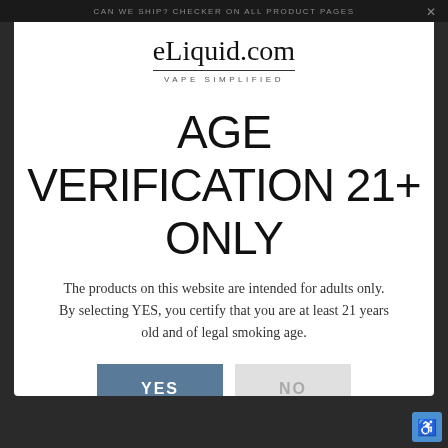CAN WE SHIP? CHECKER ON ALL PRODUCT PAGES
[Figure (logo): eLiquid.com logo with tagline VAPE SIMPLIFIED]
AGE VERIFICATION 21+ ONLY
The products on this website are intended for adults only. By selecting YES, you certify that you are at least 21 years old and of legal smoking age.
YES  NO